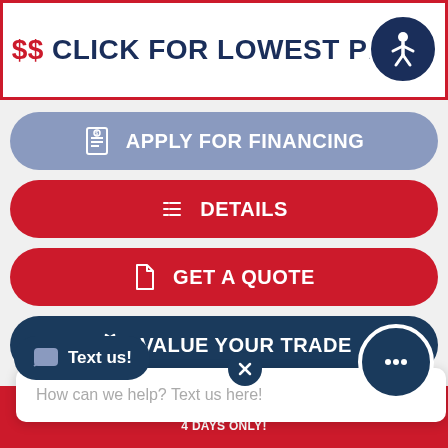$$ CLICK FOR LOWEST PRICE
APPLY FOR FINANCING
DETAILS
GET A QUOTE
VALUE YOUR TRADE
How can we help? Text us here!
Text us!
YCO JAY FLIGHT 32BH
PRE HERSHEY RV SHOW, AUGUST 18TH - 21ST | 4 DAYS ONLY!